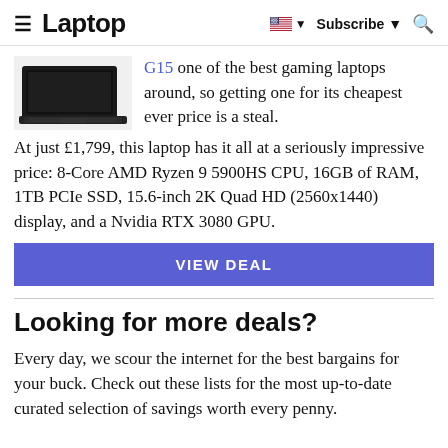Laptop | Subscribe | Search
[Figure (photo): Dark gaming laptop viewed from the side/front angle on white background]
G15 one of the best gaming laptops around, so getting one for its cheapest ever price is a steal. At just £1,799, this laptop has it all at a seriously impressive price: 8-Core AMD Ryzen 9 5900HS CPU, 16GB of RAM, 1TB PCIe SSD, 15.6-inch 2K Quad HD (2560x1440) display, and a Nvidia RTX 3080 GPU.
VIEW DEAL
Looking for more deals?
Every day, we scour the internet for the best bargains for your buck. Check out these lists for the most up-to-date curated selection of savings worth every penny.